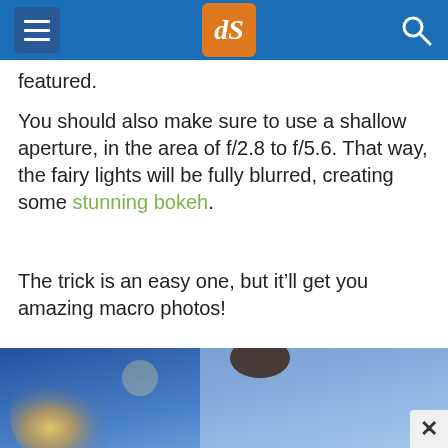dPS
featured.
You should also make sure to use a shallow aperture, in the area of f/2.8 to f/5.6. That way, the fairy lights will be fully blurred, creating some stunning bokeh.
The trick is an easy one, but it'll get you amazing macro photos!
[Figure (photo): Close-up macro photo with bokeh effect showing blurred fairy lights in blue and warm tones]